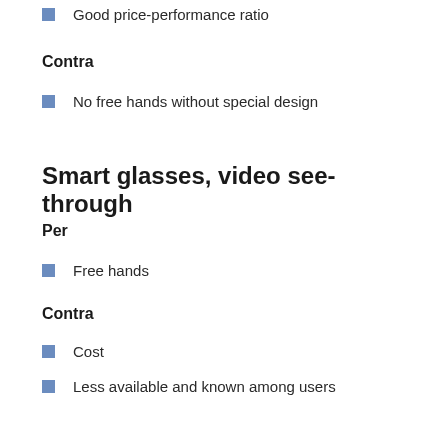Good price-performance ratio
Contra
No free hands without special design
Smart glasses, video see-through
Per
Free hands
Contra
Cost
Less available and known among users